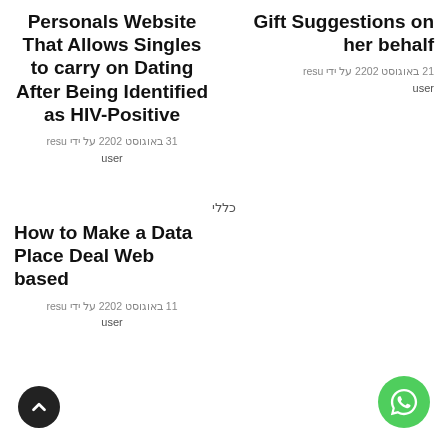Personals Website That Allows Singles to carry on Dating After Being Identified as HIV-Positive
13 באוגוסט 2022 על ידי user
user
Gift Suggestions on her behalf
12 באוגוסט 2022 על ידי user
user
כללי
How to Make a Data Place Deal Web based
11 באוגוסט 2022 על ידי user
user